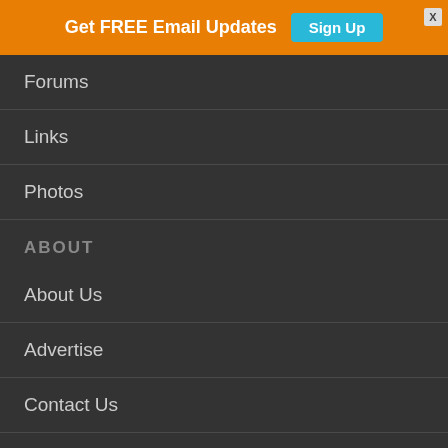[Figure (screenshot): Orange banner with 'Get FREE Email Updates' text and a cyan 'Sign Up' button, with an X close button in the top right corner]
Forums
Links
Photos
ABOUT
About Us
Advertise
Contact Us
Contributors
Email Dave
Media Coverage